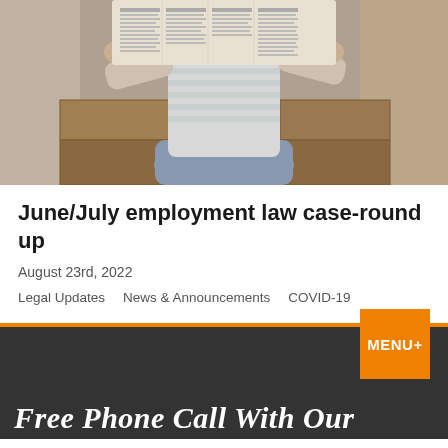[Figure (photo): Person sitting down reading a newspaper, face hidden behind the newspaper, wearing a striped shirt and jeans, background shows wooden crates]
June/July employment law case-round up
August 23rd, 2022
Legal Updates   News & Announcements   COVID-19
MENU+
Free Phone Call With Our